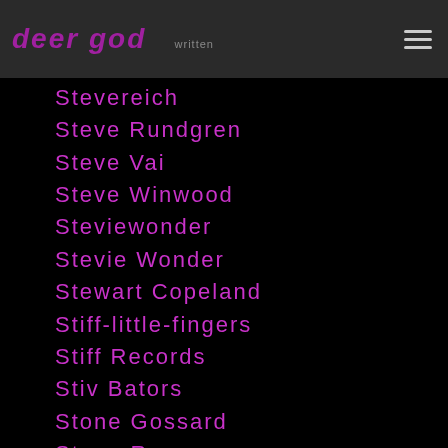deer god
Stevereich
Steve Rundgren
Steve Vai
Steve Winwood
Steviewonder
Stevie Wonder
Stewart Copeland
Stiff-little-fingers
Stiff Records
Stiv Bators
Stone Gossard
Stone Roses
Stoner Rock
Stones Throw Records
Stone Temple Pilots
Stone-temple-pilots
Stooges